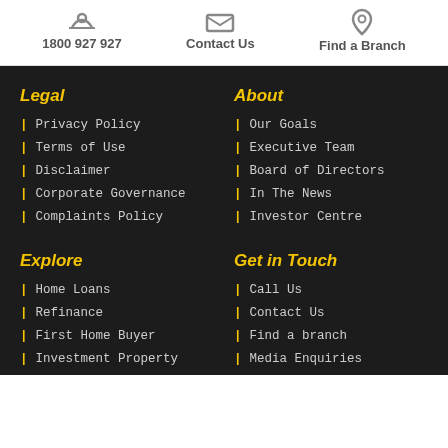1800 927 927 | Contact Us | Find a Branch
Legal
Privacy Policy
Terms of Use
Disclaimer
Corporate Governance
Complaints Policy
About
Our Goals
Executive Team
Board of Directors
In The News
Investor Centre
Explore
Home Loans
Refinance
First Home Buyer
Get in Touch
Call Us
Contact Us
Find a branch